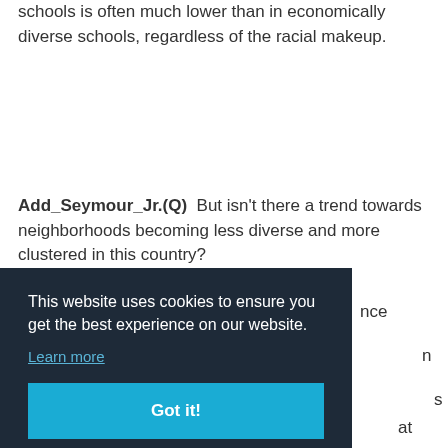schools is often much lower than in economically diverse schools, regardless of the racial makeup.
Add_Seymour_Jr.(Q)  But isn't there a trend towards neighborhoods becoming less diverse and more clustered in this country?
Dr_Wells(A)  Actually, racial segregation in [text partially obscured by cookie overlay]
[Figure (screenshot): Cookie consent overlay with dark background (#1e2a38). Text: 'This website uses cookies to ensure you get the best experience on our website.' Link: 'Learn more'. Button: 'Got it!' with teal/blue background.]
middle-class suburbs remain fairly